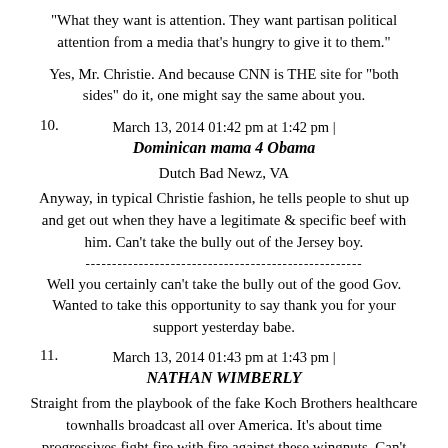"What they want is attention. They want partisan political attention from a media that's hungry to give it to them."
Yes, Mr. Christie. And because CNN is THE site for "both sides" do it, one might say the same about you.
March 13, 2014 01:42 pm at 1:42 pm |
10. Dominican mama 4 Obama
Dutch Bad Newz, VA
Anyway, in typical Christie fashion, he tells people to shut up and get out when they have a legitimate & specific beef with him. Can't take the bully out of the Jersey boy.
----------------------------------------------------
Well you certainly can't take the bully out of the good Gov. Wanted to take this opportunity to say thank you for your support yesterday babe.
March 13, 2014 01:43 pm at 1:43 pm |
11. NATHAN WIMBERLY
Straight from the playbook of the fake Koch Brothers healthcare townhalls broadcast all over America. It's about time progressives fight fire with fire against these wingnuts. Can't wait to see Grover Norquist and the GOBP stuff Jeb Bush down the tea patty's throats 2012 Mitt the tuit style